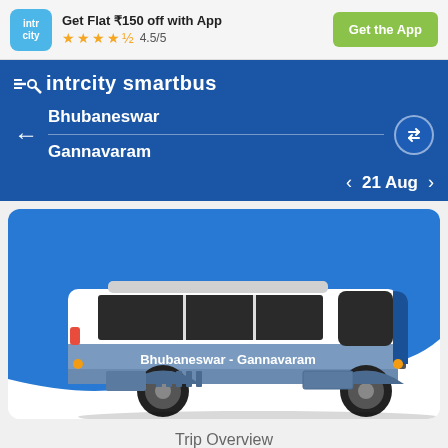[Figure (screenshot): IntrCity app top banner with logo, offer text, star rating, and Get the App button]
Get Flat ₹150 off with App
4.5/5
Get the App
intrcity smartbus
Bhubaneswar
Gannavaram
21 Aug
[Figure (illustration): Illustration of a blue and white coach bus with text 'Bhubaneswar - Gannavaram' on its side, placed on a blue curved background]
Trip Overview